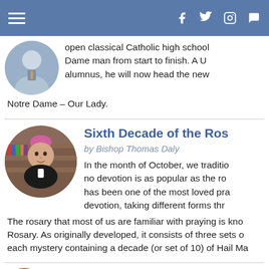Navigation bar with hamburger menu and social icons (Facebook, Twitter, Instagram, chat)
open classical Catholic high school Dame man from start to finish. A U alumnus, he will now head the new Notre Dame – Our Lady.
Sixth Decade of the Ros
by Bishop Thomas Daly
In the month of October, we traditio no devotion is as popular as the ro has been one of the most loved pra devotion, taking different forms thr The rosary that most of us are familiar with praying is kno Rosary. As originally developed, it consists of three sets o each mystery containing a decade (or set of 10) of Hail Ma